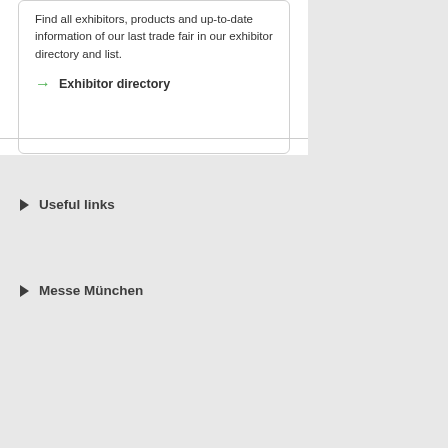Find all exhibitors, products and up-to-date information of our last trade fair in our exhibitor directory and list.
→ Exhibitor directory
▶ Useful links
▶ Messe München